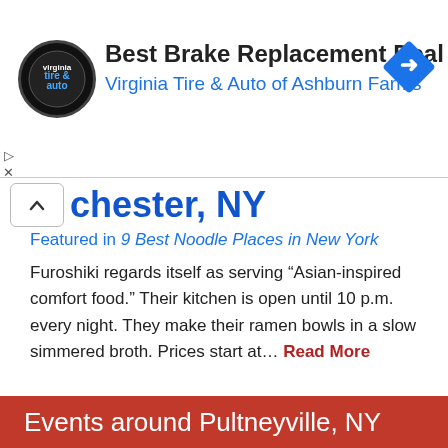[Figure (logo): Virginia Tire & Auto advertisement banner with circular logo, text 'Best Brake Replacement Deal' and 'Virginia Tire & Auto of Ashburn Farms', and a blue diamond navigation icon]
chester, NY
Featured in 9 Best Noodle Places in New York
Furoshiki regards itself as serving “Asian-inspired comfort food.” Their kitchen is open until 10 p.m. every night. They make their ramen bowls in a slow simmered broth. Prices start at... Read More
Show More
Events around Pultneyville, NY